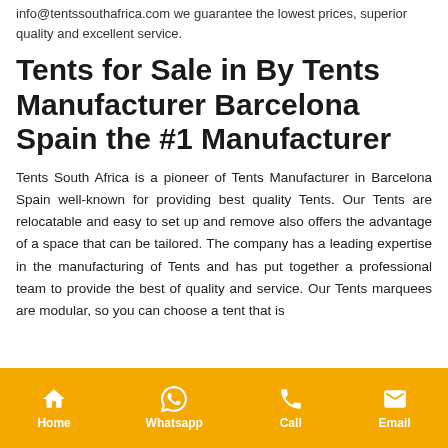info@tentssouthafrica.com we guarantee the lowest prices, superior quality and excellent service.
Tents for Sale in By Tents Manufacturer Barcelona Spain the #1 Manufacturer
Tents South Africa is a pioneer of Tents Manufacturer in Barcelona Spain well-known for providing best quality Tents. Our Tents are relocatable and easy to set up and remove also offers the advantage of a space that can be tailored. The company has a leading expertise in the manufacturing of Tents and has put together a professional team to provide the best of quality and service. Our Tents marquees are modular, so you can choose a tent that is
Home | Whatsapp | Call | Email